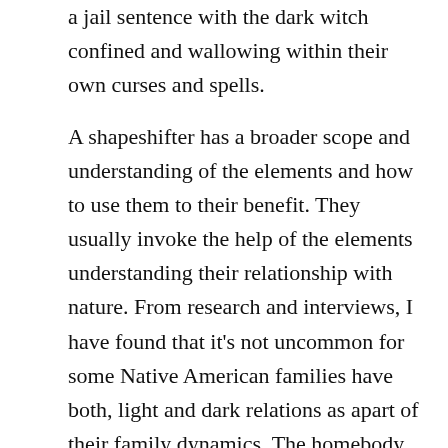a jail sentence with the dark witch confined and wallowing within their own curses and spells.
A shapeshifter has a broader scope and understanding of the elements and how to use them to their benefit. They usually invoke the help of the elements understanding their relationship with nature. From research and interviews, I have found that it's not uncommon for some Native American families have both, light and dark relations as apart of their family dynamics. The homebody itself can become a very intense fight for the light and dark quandary, opposing each other. Interestingly enough, the light and dark aspects of life are opposite sides of the same coin. Most Native American families understand the characteristics of both sides and because of this; shapeshifting and witchcraft have very different uses and incentives depending on which side of the coin is being used. As each side opposes each other